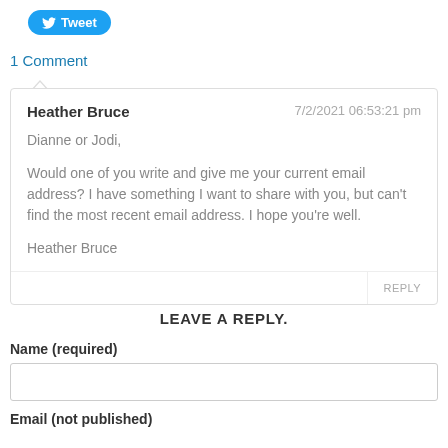[Figure (other): Twitter Tweet button with bird logo]
1 Comment
Heather Bruce
7/2/2021 06:53:21 pm

Dianne or Jodi,

Would one of you write and give me your current email address? I have something I want to share with you, but can't find the most recent email address. I hope you're well.

Heather Bruce

REPLY
LEAVE A REPLY.
Name (required)
Email (not published)